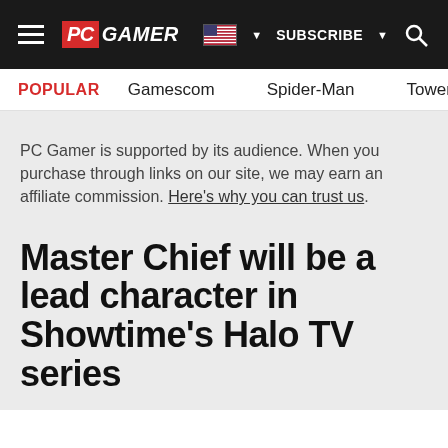PC GAMER — SUBSCRIBE — Search
POPULAR  Gamescom  Spider-Man  Tower o
PC Gamer is supported by its audience. When you purchase through links on our site, we may earn an affiliate commission. Here's why you can trust us.
Master Chief will be a lead character in Showtime's Halo TV series